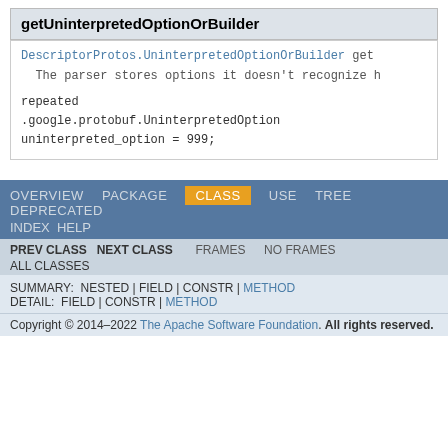getUninterpretedOptionOrBuilder
DescriptorProtos.UninterpretedOptionOrBuilder get
The parser stores options it doesn't recognize h
repeated
.google.protobuf.UninterpretedOption
uninterpreted_option = 999;
OVERVIEW  PACKAGE  CLASS  USE  TREE  DEPRECATED
INDEX  HELP
PREV CLASS  NEXT CLASS  FRAMES  NO FRAMES
ALL CLASSES
SUMMARY: NESTED | FIELD | CONSTR | METHOD
DETAIL: FIELD | CONSTR | METHOD
Copyright © 2014-2022 The Apache Software Foundation. All rights reserved.